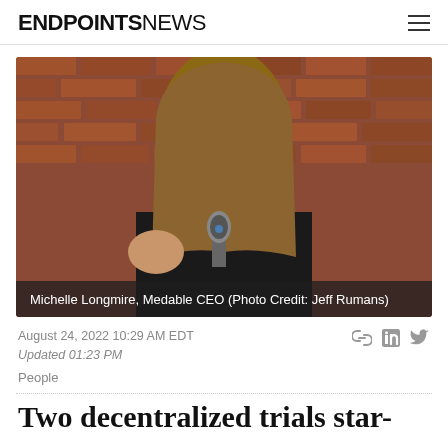ENDPOINTS NEWS
[Figure (photo): Woman with long brown hair in black turtleneck speaking into microphone against brick wall background. Caption: Michelle Longmire, Medable CEO (Photo Credit: Jeff Rumans)]
Michelle Longmire, Medable CEO (Photo Credit: Jeff Rumans)
August 24, 2022 10:29 AM EDT
Updated 01:23 PM
People
Two decentralized trials star-